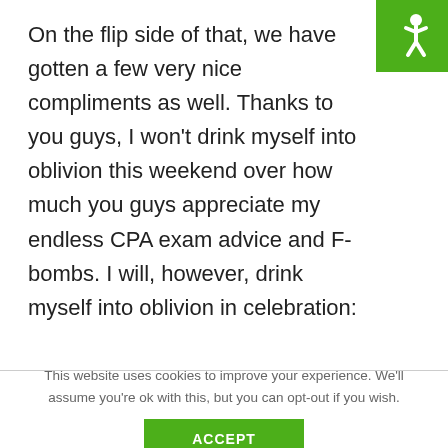[Figure (logo): Green square logo with white accessibility/person icon in top-right corner]
On the flip side of that, we have gotten a few very nice compliments as well. Thanks to you guys, I won't drink myself into oblivion this weekend over how much you guys appreciate my endless CPA exam advice and F-bombs. I will, however, drink myself into oblivion in celebration:
This website uses cookies to improve your experience. We'll assume you're ok with this, but you can opt-out if you wish.
ACCEPT